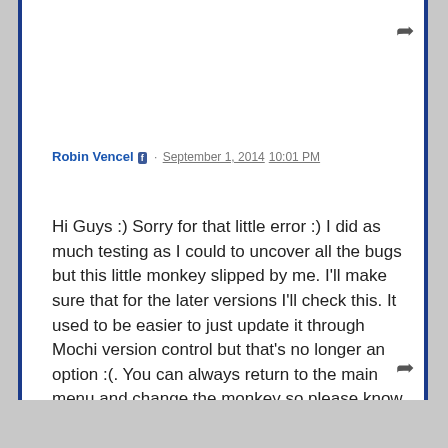Robin Vencel [fb] · September 1, 2014 10:01 PM
Hi Guys :) Sorry for that little error :) I did as much testing as I could to uncover all the bugs but this little monkey slipped by me. I'll make sure that for the later versions I'll check this. It used to be easier to just update it through Mochi version control but that's no longer an option :(. You can always return to the main menu and change the monkey so please know that you can uncover the clue. Sorry again guys and thanks for playing :) Robin Vencel (www.pencilkids.com)